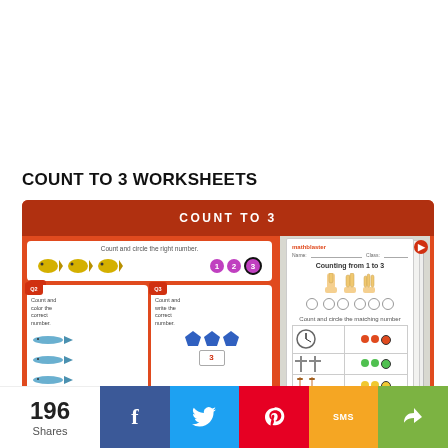COUNT TO 3 WORKSHEETS
[Figure (illustration): Count to 3 worksheets preview showing colorful math worksheets for kids with fish counting, pentagon shape counting, and matching exercises on orange/red background. Includes a right-side panel showing additional worksheet pages with hand counting and dot matching activities.]
196 Shares
[Figure (infographic): Social sharing bar with Facebook (blue), Twitter (light blue), Pinterest (red), SMS (orange), and share (green) buttons]